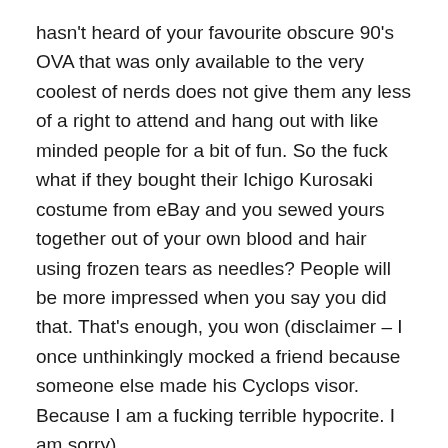hasn't heard of your favourite obscure 90's OVA that was only available to the very coolest of nerds does not give them any less of a right to attend and hang out with like minded people for a bit of fun. So the fuck what if they bought their Ichigo Kurosaki costume from eBay and you sewed yours together out of your own blood and hair using frozen tears as needles? People will be more impressed when you say you did that. That's enough, you won (disclaimer – I once unthinkingly mocked a friend because someone else made his Cyclops visor. Because I am a fucking terrible hypocrite. I am sorry).
Obviously anime cons are just a small scale example of something I have found to be much more widespread (and these people are definitely a minority at cons, most of the people there are fucking lovely) both on and offline about something far more important in some cases. This is...